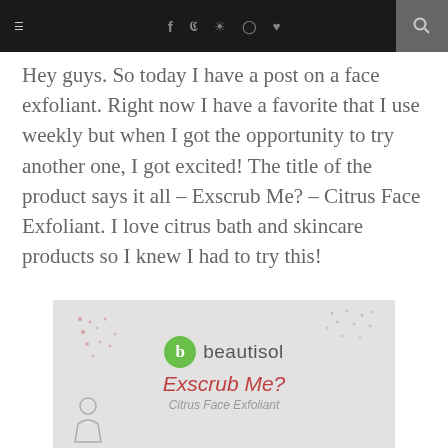Navigation bar with hamburger menu, social icons (f, Twitter, Instagram, Pinterest, heart), and search icon
Hey guys. So today I have a post on a face exfoliant. Right now I have a favorite that I use weekly but when I got the opportunity to try another one, I got excited! The title of the product says it all – Exscrub Me? – Citrus Face Exfoliant. I love citrus bath and skincare products so I knew I had to try this!
[Figure (photo): Product photo of Beautisol Exscrub Me? Citrus Face Exfoliant packaging on a light gray background with decorative dot patterns]